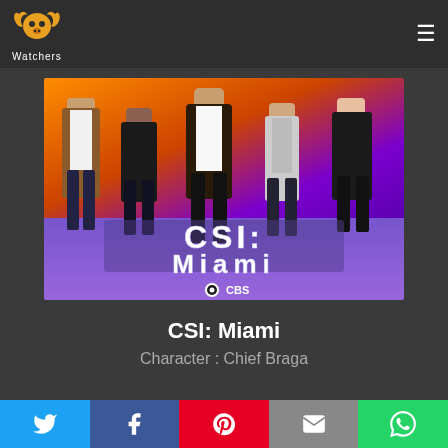PP Watchers
[Figure (photo): CSI: Miami TV show promotional image with cast members and CBS logo on a colorful purple/orange background]
CSI: Miami
Character : Chief Braga